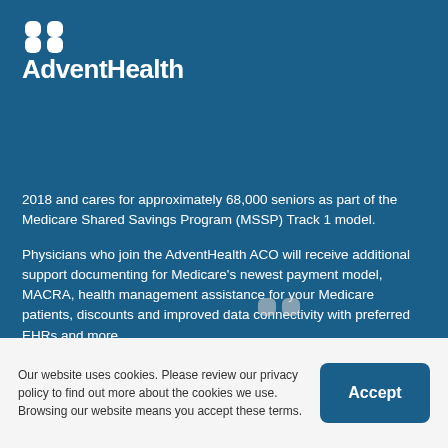[Figure (logo): AdventHealth logo with four-leaf clover icon in white on blue background]
2018 and cares for approximately 68,000 seniors as part of the Medicare Shared Savings Program (MSSP) Track 1 model.
Physicians who join the AdventHealth ACO will receive additional support documenting for Medicare's newest payment model, MACRA, health management assistance for your Medicare patients, discounts and improved data connectivity with preferred EHRs and more.
Our website uses cookies. Please review our privacy policy to find out more about the cookies we use. Browsing our website means you accept these terms.